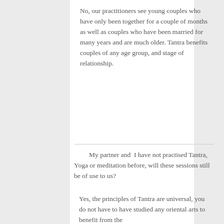No, our practitioners see young couples who have only been together for a couple of months as well as couples who have been married for many years and are much older. Tantra benefits couples of any age group, and stage of relationship.
My partner and I have not practised Tantra, Yoga or meditation before, will these sessions still be of use to us?
Yes, the principles of Tantra are universal, you do not have to have studied any oriental arts to benefit from the...